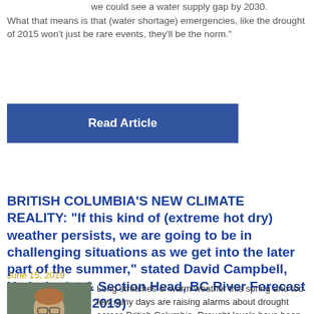we could see a water supply gap by 2030. What that means is that (water shortage) emergencies, like the drought of 2015 won't just be rare events, they'll be the norm."
Read Article
BRITISH COLUMBIA'S NEW CLIMATE REALITY: "If this kind of (extreme hot dry) weather persists, we are going to be in challenging situations as we get into the later part of the summer," stated David Campbell, Hydrologist & Section Head, BC River Forecast Centre (June 2019)
June 15, 2019
[Figure (photo): Portrait photo of David Campbell, a man with glasses wearing a red jacket, outdoors]
Long stretches of warm weather this spring and too few rainy days are raising alarms about drought across British Columbia. Drought levels have been raised already for parts of the province and Dave Campbell says the current forecast points to drought